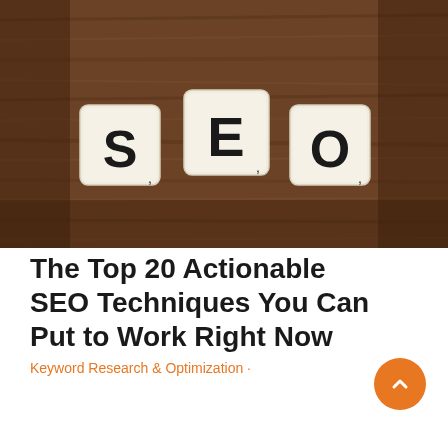[Figure (photo): Three white Scrabble tiles spelling 'S', 'E', 'O' arranged on a dark wooden surface]
The Top 20 Actionable SEO Techniques You Can Put to Work Right Now
Keyword Research & Optimization ·